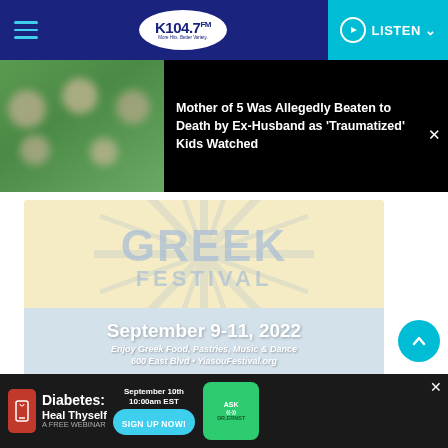K104.7 FM — LISTEN
[Figure (photo): News article thumbnail: woman with 5 children with blurred faces, outdoors on grass]
Mother of 5 Was Allegedly Beaten to Death by Ex-Husband as 'Traumatized' Kids Watched
[Figure (infographic): Greek Festival advertisement: September 9-11, 2022. Enjoy Greek Food, Pastries, Music & Dance. 600 East Blvd • YiasouFestival.org]
[Figure (infographic): Diabetes: Heal Thyself - A FREE WEBINAR. September 10th 10:00am EST. SIGN UP NOW! ASK DR. ERNST]